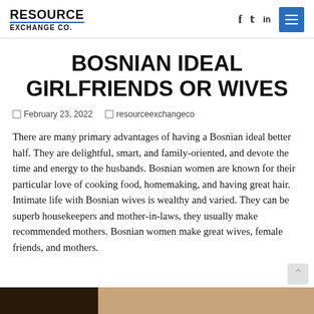RESOURCE EXCHANGE CO.
BOSNIAN IDEAL GIRLFRIENDS OR WIVES
February 23, 2022  resourceexchangeco
There are many primary advantages of having a Bosnian ideal better half. They are delightful, smart, and family-oriented, and devote the time and energy to the husbands. Bosnian women are known for their particular love of cooking food, homemaking, and having great hair. Intimate life with Bosnian wives is wealthy and varied. They can be superb housekeepers and mother-in-laws, they usually make recommended mothers. Bosnian women make great wives, female friends, and mothers.
[Figure (photo): Partial image strip at bottom of page showing dark and light tones, appears to be a photo of a woman]